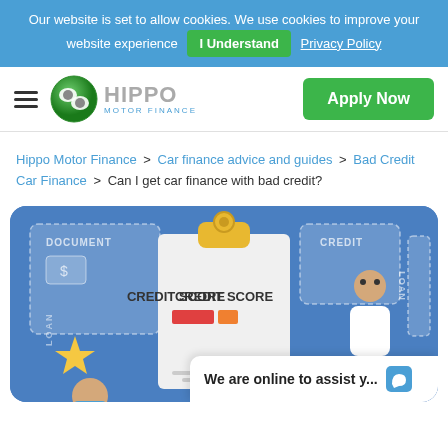Our website is set to allow cookies. We use cookies to improve your website experience  I Understand  Privacy Policy
[Figure (logo): Hippo Motor Finance logo with hamburger menu and Apply Now button]
Hippo Motor Finance > Car finance advice and guides > Bad Credit Car Finance > Can I get car finance with bad credit?
[Figure (illustration): Credit score illustration with clipboard showing CREDIT SCORE text, documents labeled DOCUMENT, CREDIT, LOAN, a star, and a person figure on blue background]